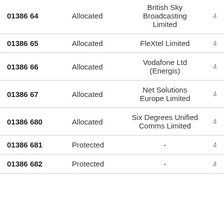| Number | Status | Company |  |
| --- | --- | --- | --- |
| 01386 64 | Allocated | British Sky Broadcasting Limited | 4 |
| 01386 65 | Allocated | FleXtel Limited | 4 |
| 01386 66 | Allocated | Vodafone Ltd (Energis) | 4 |
| 01386 67 | Allocated | Net Solutions Europe Limited | 4 |
| 01386 680 | Allocated | Six Degrees Unified Comms Limited | 4 |
| 01386 681 | Protected | - | 4 |
| 01386 682 | Protected | - | 4 |